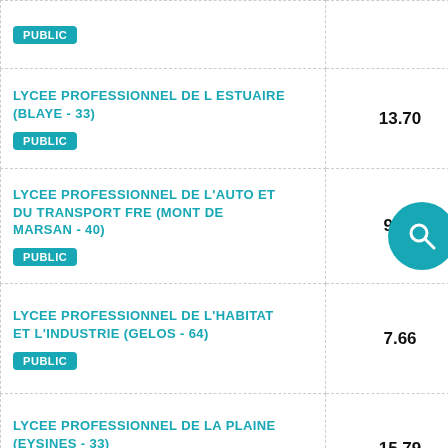| Établissement | Score |
| --- | --- |
| PUBLIC |  |
| LYCEE PROFESSIONNEL DE L ESTUAIRE (BLAYE - 33)
PUBLIC | 13.70 |
| LYCEE PROFESSIONNEL DE L'AUTO ET DU TRANSPORT FRE (MONT DE MARSAN - 40)
PUBLIC | 9.36 |
| LYCEE PROFESSIONNEL DE L'HABITAT ET L'INDUSTRIE (GELOS - 64)
PUBLIC | 7.66 |
| LYCEE PROFESSIONNEL DE LA PLAINE (EYSINES - 33)
PUBLIC | 15.79 |